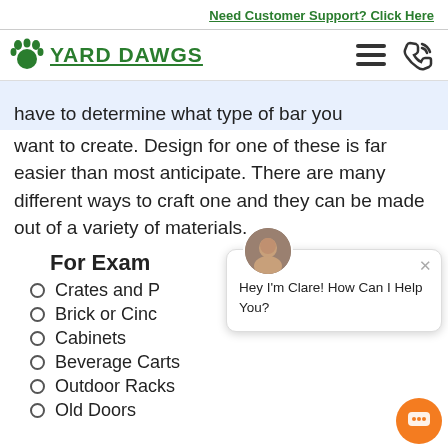Need Customer Support? Click Here
[Figure (logo): Yard Dawgs logo with paw print icon and hamburger menu / phone icons]
have to determine what type of bar you want to create. Design for one of these is far easier than most anticipate. There are many different ways to craft one and they can be made out of a variety of materials.
For Exam...
Crates and P...
Brick or Cinc...
Cabinets
Beverage Carts
Outdoor Racks
Old Doors
[Figure (screenshot): Chat popup with avatar of Clare and text: Hey I'm Clare! How Can I Help You?]